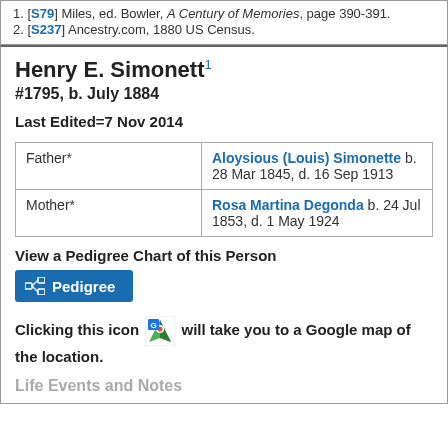1. [S79] Miles, ed. Bowler, A Century of Memories, page 390-391.
2. [S237] Ancestry.com, 1880 US Census.
Henry E. Simonett1 #1795, b. July 1884
Last Edited=7 Nov 2014
|  |  |
| --- | --- |
| Father* | Aloysious (Louis) Simonette b. 28 Mar 1845, d. 16 Sep 1913 |
| Mother* | Rosa Martina Degonda b. 24 Jul 1853, d. 1 May 1924 |
View a Pedigree Chart of this Person
[Figure (other): Pedigree button - blue button with pedigree chart icon and text 'Pedigree']
Clicking this icon [Google Maps icon] will take you to a Google map of the location.
Life Events and Notes